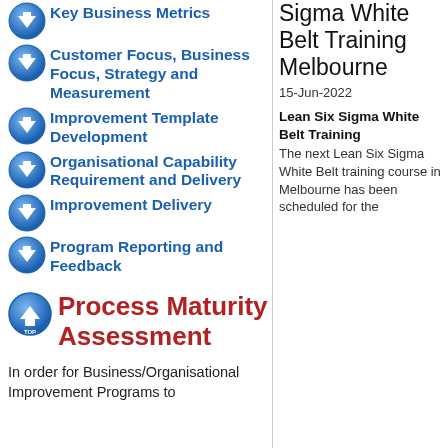Key Business Metrics
Customer Focus, Business Focus, Strategy and Measurement
Improvement Template Development
Organisational Capability Requirement and Delivery
Improvement Delivery
Program Reporting and Feedback
Process Maturity Assessment
In order for Business/Organisational Improvement Programs to
Sigma White Belt Training Melbourne
15-Jun-2022
Lean Six Sigma White Belt Training
The next Lean Six Sigma White Belt training course in Melbourne has been scheduled for the